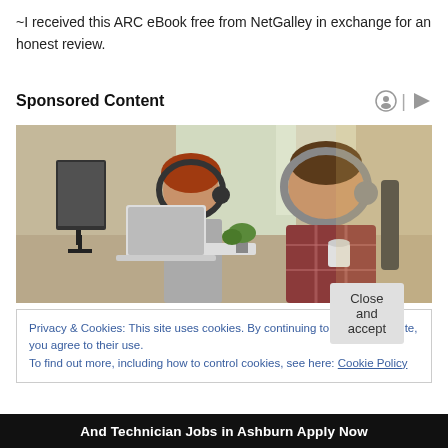~I received this ARC eBook free from NetGalley in exchange for an honest review.
Sponsored Content
[Figure (photo): Two people wearing headphones working at computers in an office setting. A woman with red hair sits in the background and a man in a plaid shirt sits in the foreground.]
Privacy & Cookies: This site uses cookies. By continuing to use this website, you agree to their use.
To find out more, including how to control cookies, see here: Cookie Policy
Close and accept
And Technician Jobs in Ashburn Apply Now